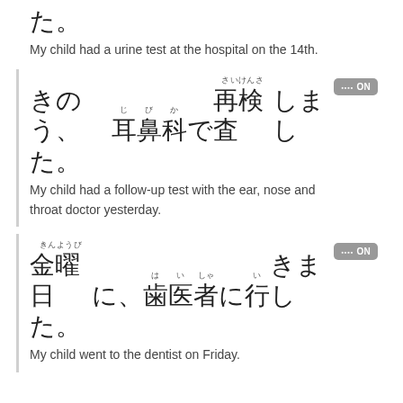た。
My child had a urine test at the hospital on the 14th.
きのう、耳鼻科で再検査しました。
My child had a follow-up test with the ear, nose and throat doctor yesterday.
金曜日に、歯医者に行きました。
My child went to the dentist on Friday.